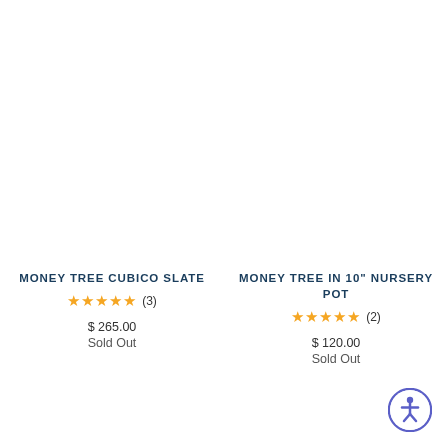MONEY TREE CUBICO SLATE
★★★★★ (3)
$ 265.00
Sold Out
MONEY TREE IN 10" NURSERY POT
★★★★★ (2)
$ 120.00
Sold Out
[Figure (illustration): Accessibility icon button - circle with person figure]